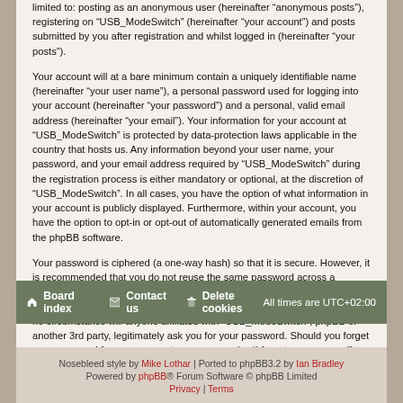limited to: posting as an anonymous user (hereinafter "anonymous posts"), registering on "USB_ModeSwitch" (hereinafter "your account") and posts submitted by you after registration and whilst logged in (hereinafter "your posts").
Your account will at a bare minimum contain a uniquely identifiable name (hereinafter "your user name"), a personal password used for logging into your account (hereinafter "your password") and a personal, valid email address (hereinafter "your email"). Your information for your account at "USB_ModeSwitch" is protected by data-protection laws applicable in the country that hosts us. Any information beyond your user name, your password, and your email address required by "USB_ModeSwitch" during the registration process is either mandatory or optional, at the discretion of "USB_ModeSwitch". In all cases, you have the option of what information in your account is publicly displayed. Furthermore, within your account, you have the option to opt-in or opt-out of automatically generated emails from the phpBB software.
Your password is ciphered (a one-way hash) so that it is secure. However, it is recommended that you do not reuse the same password across a number of different websites. Your password is the means of accessing your account at "USB_ModeSwitch", so please guard it carefully and under no circumstance will anyone affiliated with "USB_ModeSwitch", phpBB or another 3rd party, legitimately ask you for your password. Should you forget your password for your account, you can use the "I forgot my password" feature provided by the phpBB software. This process will ask you to submit your user name and your email, then the phpBB software will generate a new password to reclaim your account.
Board index | Contact us | Delete cookies | All times are UTC+02:00
Nosebleed style by Mike Lothar | Ported to phpBB3.2 by Ian Bradley
Powered by phpBB® Forum Software © phpBB Limited
Privacy | Terms